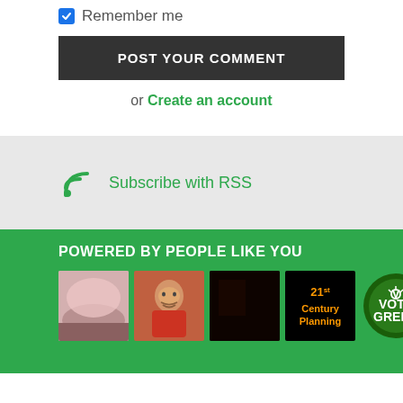Remember me
POST YOUR COMMENT
or Create an account
Subscribe with RSS
POWERED BY PEOPLE LIKE YOU
[Figure (photo): Row of user avatar images including a pink sky photo, a portrait painting, a dark image, a 21st Century Planning logo, and a Vote Green badge]